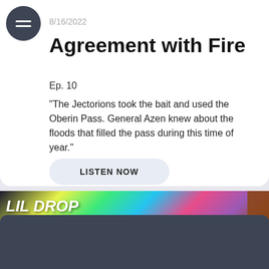8/16/2022
Agreement with Fire
Ep. 10
"The Jectorions took the bait and used the Oberin Pass. General Azen knew about the floods that filled the pass during this time of year."
LISTEN NOW
[Figure (screenshot): Podcast app screenshot showing LIL DROP BIG WAVES album/show art with colorful abstract background]
Multiplane Tales
Agreement with Fire
August 16, 2022 • 17 min • Listen later
Acast
View terms